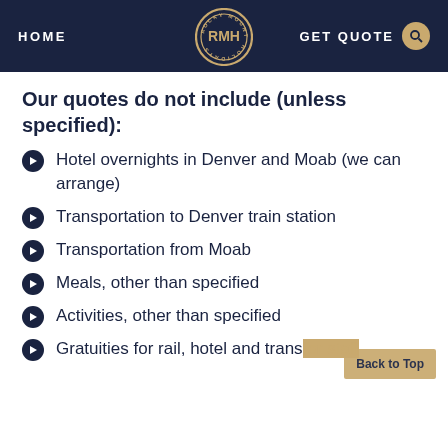HOME | Rocky Mountain Holidays | GET QUOTE
Our quotes do not include (unless specified):
Hotel overnights in Denver and Moab (we can arrange)
Transportation to Denver train station
Transportation from Moab
Meals, other than specified
Activities, other than specified
Gratuities for rail, hotel and transfer staff